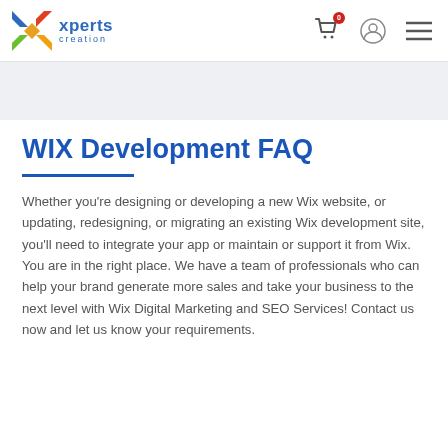[Figure (logo): Xperts Creation logo with colorful X icon and blue text]
WIX Development FAQ
Whether you're designing or developing a new Wix website, or updating, redesigning, or migrating an existing Wix development site, you'll need to integrate your app or maintain or support it from Wix. You are in the right place. We have a team of professionals who can help your brand generate more sales and take your business to the next level with Wix Digital Marketing and SEO Services! Contact us now and let us know your requirements.